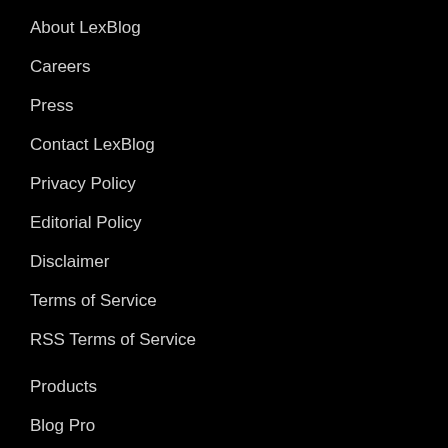About LexBlog
Careers
Press
Contact LexBlog
Privacy Policy
Editorial Policy
Disclaimer
Terms of Service
RSS Terms of Service
Products
Blog Pro
Blog Plus
Blog Premier
Microsite